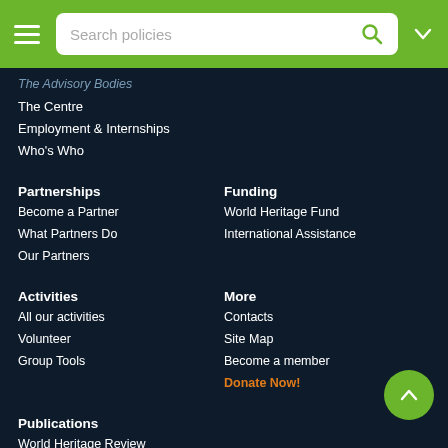Search policies
The Advisory Bodies
The Centre
Employment & Internships
Who's Who
Partnerships
Become a Partner
What Partners Do
Our Partners
Funding
World Heritage Fund
International Assistance
Activities
All our activities
Volunteer
Group Tools
More
Contacts
Site Map
Become a member
Donate Now!
Publications
World Heritage Review
Series
Resource Manuals